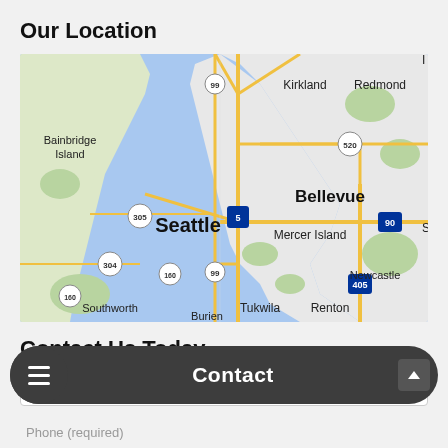Our Location
[Figure (map): Google Maps showing Seattle area including Kirkland, Redmond, Bainbridge Island, Bellevue, Mercer Island, Newcastle, Southworth, Tukwila, Renton, and Burien with major highways 99, 5, 305, 304, 160, 520, 90, 405 marked]
Contact Us Today
(required)
Contact
Phone (required)